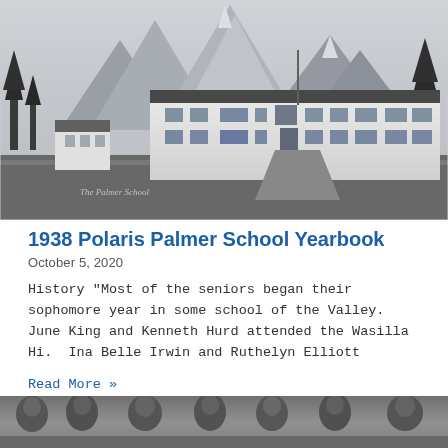[Figure (photo): Black and white historical photograph of Palmer School building with mountains in the background and trees on the sides. Caption text visible on photo reads 'The Palmer School'.]
1938 Polaris Palmer School Yearbook
October 5, 2020
History "Most of the seniors began their sophomore year in some school of the Valley.  June King and Kenneth Hurd attended the Wasilla Hi.  Ina Belle Irwin and Ruthelyn Elliott
Read More »
[Figure (photo): Black and white historical photograph showing a group of people (likely students), partially visible at the bottom of the page.]